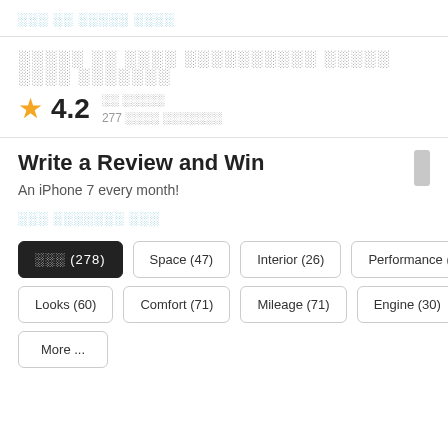░░░ ░░ ░░░░░ ░░░░
░░░░░ ░░ ░░░░ ░░░░░░░░░░ ░░░░░ ░░░░ ░░░░░░░
★ 4.2   ░░ ░░░░░   277 ░░░░ ░░░░░░░
Write a Review and Win
An iPhone 7 every month!
░░░ ░░░░░░░ ░░░
░░░ (278)
Space (47)
Interior (26)
Performance (20)
Looks (60)
Comfort (71)
Mileage (71)
Engine (30)
More ...